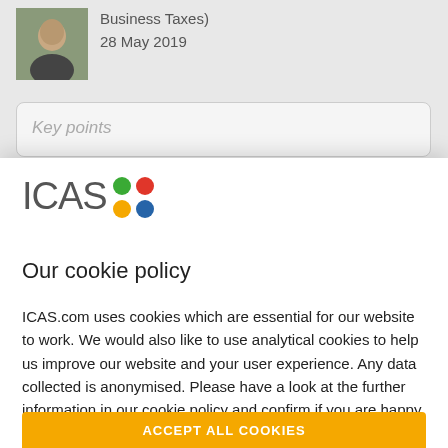[Figure (photo): Profile photo of a person, partially visible in top section of webpage background]
Business Taxes)
28 May 2019
Key points
[Figure (logo): ICAS logo with four colored dots (green, red, yellow, blue) arranged in a 2x2 grid next to the text ICAS]
Our cookie policy
ICAS.com uses cookies which are essential for our website to work. We would also like to use analytical cookies to help us improve our website and your user experience. Any data collected is anonymised. Please have a look at the further information in our cookie policy and confirm if you are happy for us to use analytical cookies:
ACCEPT ALL COOKIES